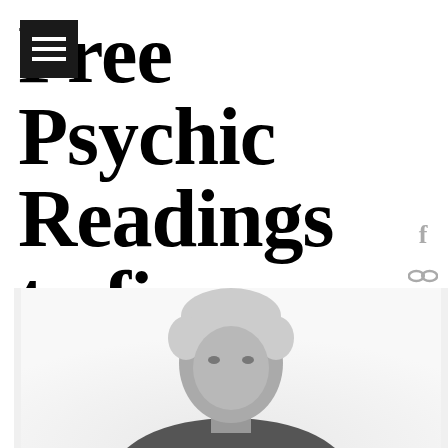[Figure (other): Black square menu/hamburger icon with three white horizontal lines]
Free Psychic Readings to fire your intuition
[Figure (other): Social media icons on right side: Facebook 'f' icon and a link/chain icon, both in grey]
[Figure (photo): Black and white photo of an older man with grey hair, head and shoulders visible from below, cropped at bottom of page]